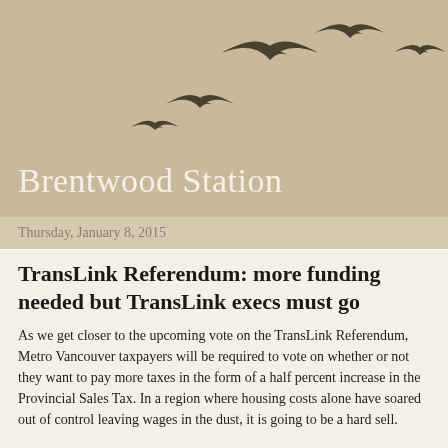[Figure (illustration): Silhouettes of flying birds in a curved formation against a beige/tan background, decorating the blog header.]
Brentwood Station
Thursday, January 8, 2015
TransLink Referendum: more funding needed but TransLink execs must go
As we get closer to the upcoming vote on the TransLink Referendum, Metro Vancouver taxpayers will be required to vote on whether or not they want to pay more taxes in the form of a half percent increase in the Provincial Sales Tax. In a region where housing costs alone have soared out of control leaving wages in the dust, it is going to be a hard sell.